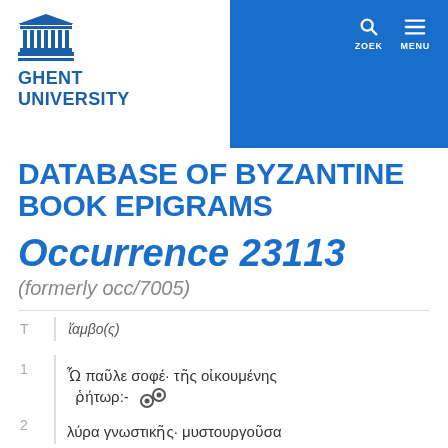Ghent University — Database of Byzantine Book Epigrams
DATABASE OF BYZANTINE BOOK EPIGRAMS
Occurrence 23113
(formerly occ/7005)
|  |  |  |
| --- | --- | --- |
| T |  | ἴαμβο(ς) |
| 1 |  | Ὦ παῦλε σοφέ· τῆς οἰκουμένης ῥήτωρ:- |
| 2 |  | λύρα γνωστικῆς· μυστουργοῦσα |